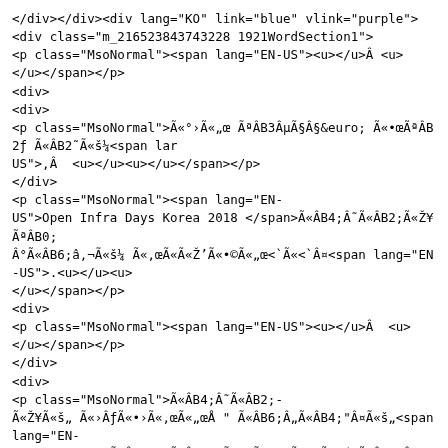</div></div><div lang="KO" link="blue" vlink="purple">
<div class="m_216523843743228 1921WordSection1">
<p class="MsoNormal"><span lang="EN-US"><u></u>Â <u>
</u></span></p>
<div>
<div>
<p class="MsoNormal">ì•žì„œ ê³µì§€ ì•œê²ƒ ì²˜ëŸ¼<span lar
US">,Â <u></u><u></u></span></p>
</div>
<p class="MsoNormal"><span lang="EN-
US">Open Infra Days Korea 2018 </span>ì´ˆì²ìž¥ ê°
°ë¶€ë¥¼ ì‹œìž'ì•©ë<˜ë<¤<span lang="EN-US">.<u></u><u>
</u></span></p>
<div>
<p class="MsoNormal"><span lang="EN-US"><u></u>Â <u>
</u></span></p>
</div>
<div>
<p class="MsoNormal">ì´ˆì²-
ìž¥ìˆ„ ì›ˆì•˜ì‹œëŠ" ë¶„ë"¤ìˆ€<span lang="EN-
US">, </span>ê³, ë©"ìˆ€ì-ˆ ëŒ€ì•´ ì´ˆì²-
ìž¥ìˆ„ ì›ˆì•œë<¤ëŠ" ë,´ìš©ìœ¼ë¡œ ì „ì²´ ë<µìž¥ìˆ„ ì•
´ ì£¼ì‹ë©´ ë‹©ë<˜ë<¤<span lang="EN-US">.<u></u><u></u>
</span></p>
</div>
<div>
<p class="MsoNormal">ë©"ìˆ€ ì•±ì-ˆì„œ ê³¸ ë©"ìˆ€ìˆ„ ê³
´ì<¤ ë•Œ<span lang="EN-US">, </span>ì „ì²
´ë<µìž¥ ê²²„ìš©ìˆ„ ë˜ŒëŸ¬ ìž'ì„±ì•˜ì< ì›„ ì „ì²ìt¡ì•˜ì‹œë©©
´ ë‹©ë<˜ë<¤<span lang="EN-US">.<u></u><u></u></span>